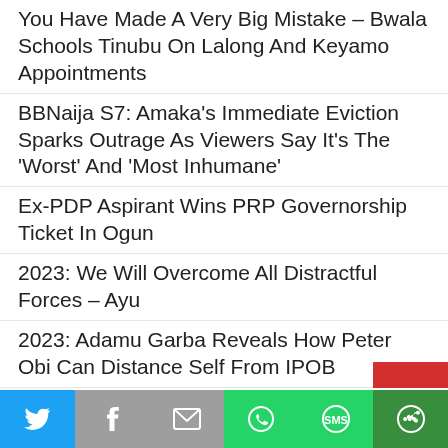You Have Made A Very Big Mistake – Bwala Schools Tinubu On Lalong And Keyamo Appointments
BBNaija S7: Amaka's Immediate Eviction Sparks Outrage As Viewers Say It's The 'Worst' And 'Most Inhumane'
Ex-PDP Aspirant Wins PRP Governorship Ticket In Ogun
2023: We Will Overcome All Distractful Forces – Ayu
2023: Adamu Garba Reveals How Peter Obi Can Distance Self From IPOB
Latest Political News In Nigeria For Today, Monday, 29th August, 2022
2023: What Atiku Said About Shekarau's Return To PDP
Fans Gush As Regina Daniels Shares Cute Photos Of Her Sons
FBI...